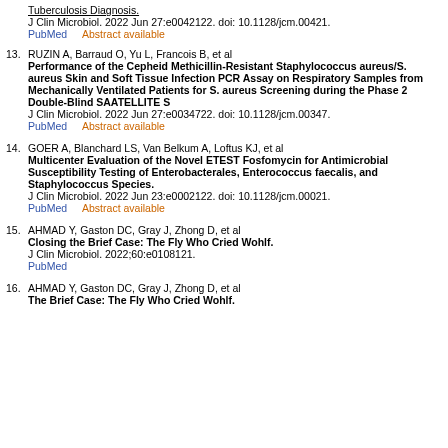Tuberculosis Diagnosis.
J Clin Microbiol. 2022 Jun 27:e0042122. doi: 10.1128/jcm.00421.
PubMed    Abstract available
13. RUZIN A, Barraud O, Yu L, Francois B, et al
Performance of the Cepheid Methicillin-Resistant Staphylococcus aureus/S. aureus Skin and Soft Tissue Infection PCR Assay on Respiratory Samples from Mechanically Ventilated Patients for S. aureus Screening during the Phase 2 Double-Blind SAATELLITE S
J Clin Microbiol. 2022 Jun 27:e0034722. doi: 10.1128/jcm.00347.
PubMed    Abstract available
14. GOER A, Blanchard LS, Van Belkum A, Loftus KJ, et al
Multicenter Evaluation of the Novel ETEST Fosfomycin for Antimicrobial Susceptibility Testing of Enterobacterales, Enterococcus faecalis, and Staphylococcus Species.
J Clin Microbiol. 2022 Jun 23:e0002122. doi: 10.1128/jcm.00021.
PubMed    Abstract available
15. AHMAD Y, Gaston DC, Gray J, Zhong D, et al
Closing the Brief Case: The Fly Who Cried Wohlf.
J Clin Microbiol. 2022;60:e0108121.
PubMed
16. AHMAD Y, Gaston DC, Gray J, Zhong D, et al
The Brief Case: The Fly Who Cried Wohlf.